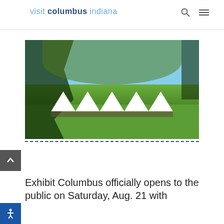visit columbus indiana
[Figure (photo): Outdoor photo of a large white tent venue seen through tree branches and leaves, with green lawn and crowd of people, blue sky background.]
Exhibit Columbus officially opens to the public on Saturday, Aug. 21 with